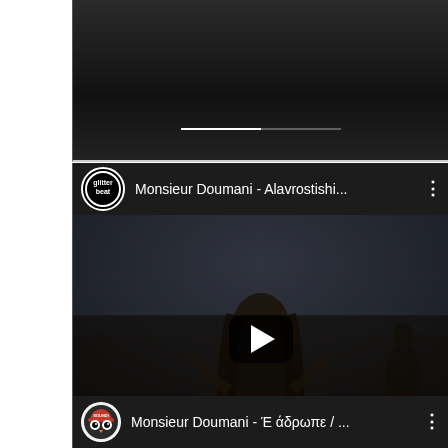[Figure (screenshot): Partial YouTube video card at top showing dark video content with a horizontal progress/divider bar visible]
[Figure (screenshot): YouTube video card for 'Monsieur Doumani - Alavrostishi...' by Glitterbeat channel, showing a dark thumbnail of a man with long hair singing outdoors, with a play button overlay]
[Figure (screenshot): Partial YouTube video card at bottom showing start of entry for 'Monsieur Doumani - Έ άδρωπε / ...' with a circular logo featuring an owl-like design]